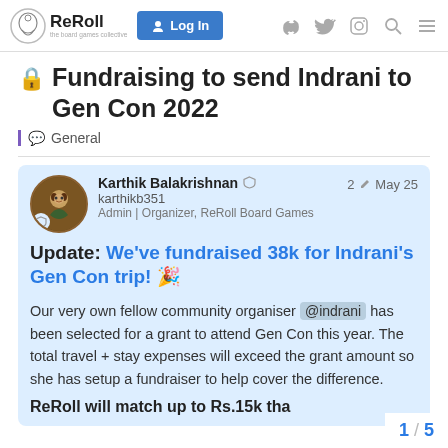ReRoll — Log In (navigation bar with social icons)
🔒 Fundraising to send Indrani to Gen Con 2022
General
Karthik Balakrishnan 🛡 karthikb351 Admin | Organizer, ReRoll Board Games — 2 ✏ May 25
Update: We've fundraised 38k for Indrani's Gen Con trip! 🎉
Our very own fellow community organiser @indrani has been selected for a grant to attend Gen Con this year. The total travel + stay expenses will exceed the grant amount so she has setup a fundraiser to help cover the difference.
ReRoll will match up to Rs.15k tha
1 / 5